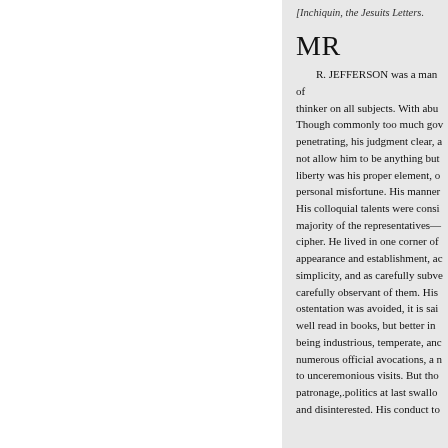[Inchiquin, the Jesuits Letters.
MR
R. JEFFERSON was a man of thinker on all subjects. With abu Though commonly too much gov penetrating, his judgment clear, a not allow him to be anything but liberty was his proper element, o personal misfortune. His manner His colloquial talents were consi majority of the representatives— cipher. He lived in one corner of appearance and establishment, ac simplicity, and as carefully subve carefully observant of them. His ostentation was avoided, it is sai well read in books, but better in being industrious, temperate, anc numerous official avocations, a n to unceremonious visits. But tho patronage,.politics at last swallo and disinterested. His conduct to